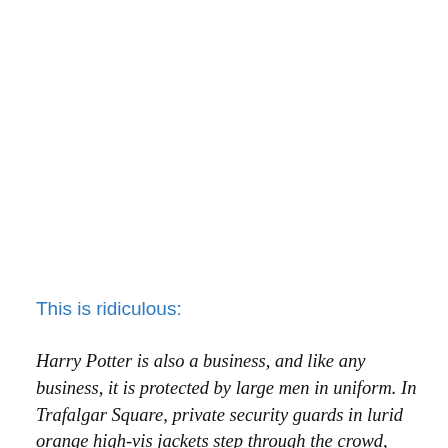This is ridiculous:
Harry Potter is also a business, and like any business, it is protected by large men in uniform. In Trafalgar Square, private security guards in lurid orange high-vis jackets step through the crowd, clashing with the glowering green